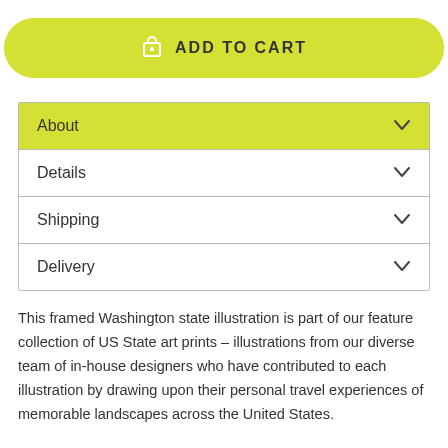[Figure (other): Add to Cart button with shopping bag icon, yellow-green rounded pill shape]
About
Details
Shipping
Delivery
This framed Washington state illustration is part of our feature collection of US State art prints – illustrations from our diverse team of in-house designers who have contributed to each illustration by drawing upon their personal travel experiences of memorable landscapes across the United States.